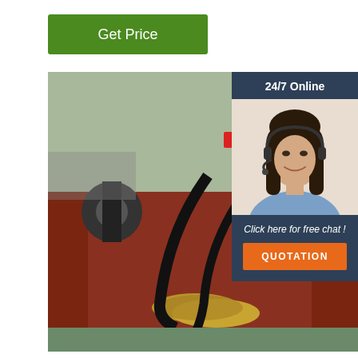Get Price
[Figure (photo): Industrial welding machine mounted on a large pipe, showing red metal housing, wire spool, cables, and brass-colored guide wheels on the pipe surface]
24/7 Online
[Figure (photo): Customer service agent - young woman with dark hair wearing a headset and blue top, smiling]
Click here for free chat !
QUOTATION